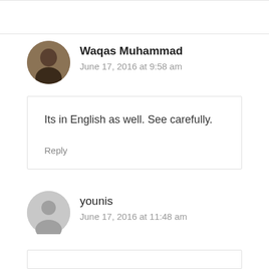Waqas Muhammad
June 17, 2016 at 9:58 am
Its in English as well. See carefully.
Reply
younis
June 17, 2016 at 11:48 am